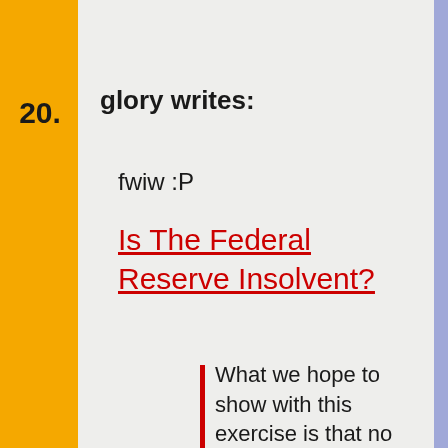20.
glory writes:
fwiw :P
Is The Federal Reserve Insolvent?
What we hope to show with this exercise is that no course of action, even the one currently employed by the